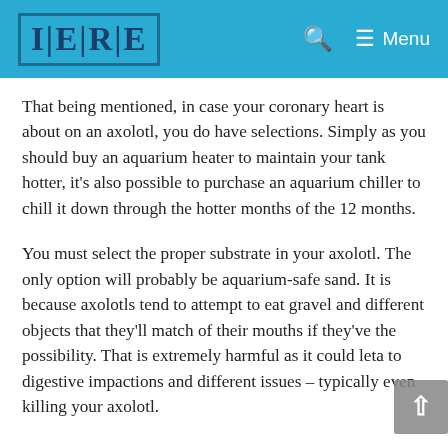I|E|R|E  [Search] [Menu]
That being mentioned, in case your coronary heart is about on an axolotl, you do have selections. Simply as you should buy an aquarium heater to maintain your tank hotter, it’s also possible to purchase an aquarium chiller to chill it down through the hotter months of the 12 months.
You must select the proper substrate in your axolotl. The only option will probably be aquarium-safe sand. It is because axolotls tend to attempt to eat gravel and different objects that they’ll match of their mouths if they’ve the possibility. That is extremely harmful as it could leta to digestive impactions and different issues – typically even killing your axolotl.